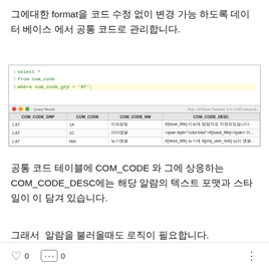그에대한 format을 코드 수정 없이 변경 가능 하도록 데이터 베이스 에서 공통 코드로 관리합니다.
[Figure (screenshot): SQL query editor showing: SELECT * FROM com_code WHERE com_code_grp = 'AT'; and query result table with columns COM_CODE_GRP, COM_CODE, COM_CODE_NM, COM_CODE_DESC showing 3 rows of AT group data.]
공통 코드 테이블에 COM_CODE 와 그에 상응하는 COM_CODE_DESC에는 해당 알람의 텍스트 포맷과 스타일이 이 담겨 있습니다.
그래서  알람을 불러올때도 로직이 필요합니다.
0  0